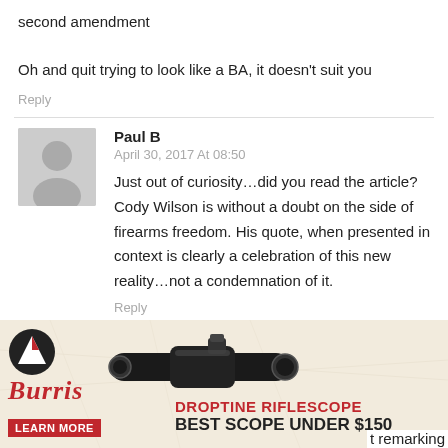second amendment

Oh and quit trying to look like a BA, it doesn't suit you
Reply
Paul B
April 30, 2017 At 08:50
Just out of curiosity…did you read the article? Cody Wilson is without a doubt on the side of firearms freedom. His quote, when presented in context is clearly a celebration of this new reality…not a condemnation of it.
Reply
[Figure (photo): Burris Droptine Riflescope advertisement banner. Shows a rifle scope, Burris logo with mountain icon, red script Burris brand name, 'DROPTINE RIFLESCOPE' in red bold text, 'BEST SCOPE UNDER $150' in black bold text, and a red 'LEARN MORE' button.]
t remarking